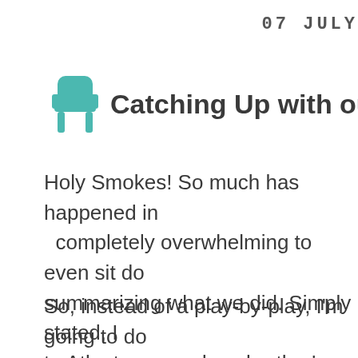07 JULY
Catching Up with our A to Zzzz
Holy Smokes!  So much has happened in completely overwhelming to even sit do summarizing what we did.  Simply stated, I to Atlanta, purged my brother's house of lot rest of his house, flew back to Arizona and was way more exhausting t
So, instead of a play-by-play, I'm going to do about four letter/words short of a full alp And, yeah, I realize that some of these are